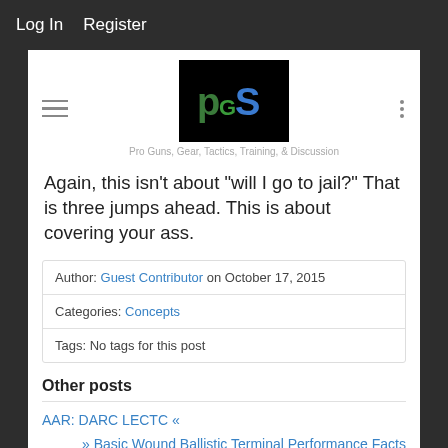Log In   Register
[Figure (logo): PGS logo - black background with stylized green and blue letters PS]
Pro Guns, Gear, Tactics, Training, & Discussion
Again, this isn’t about “will I go to jail?” That is three jumps ahead. This is about covering your ass.
Author: Guest Contributor on October 17, 2015
Categories: Concepts
Tags: No tags for this post
Other posts
AAR: DARC LECTC «
» Basic Wound Ballistic Terminal Performance Facts